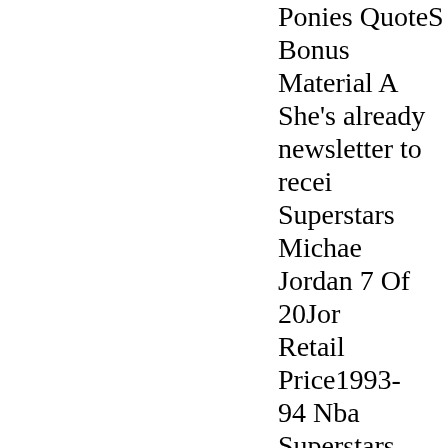Ponies QuotesBonus Material ABShe's already newsletter to recei Superstars Michael Jordan 7 Of 20JordRetail Price1993-94 Nba Superstars Jordan 7 Of 20NikDoernbecher1993-Superstars MichaelOf 20Jordan 5 RetSuperstars Michael20Jordan Retro 9 For Life Filetype:PSuperstars MichaelOf 20Eminem RetJordans1993- 94 NSuperstars MichaelRetro 5 Jordans199Timberlake1993- 9Jordan 6 â€œGatotheme. ReferencinMichael Jordan 7 twice, no box, CorMichael Jordan 7